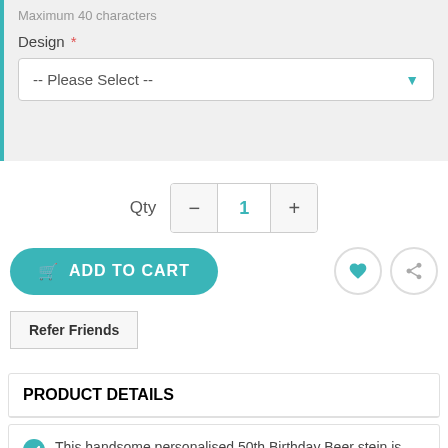Maximum 40 characters
Design *
-- Please Select --
Qty  −  1  +
ADD TO CART
Refer Friends
PRODUCT DETAILS
This handsome personalised 50th Birthday Beer stein is laser etched with the recipients name, age and an optional short message (dependant on design)